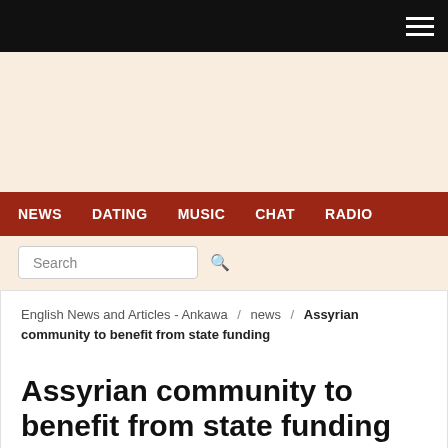Navigation bar with hamburger menu
NEWS  DATING  MUSIC  CHAT  RADIO
Search
English News and Articles - Ankawa / news / Assyrian community to benefit from state funding
Assyrian community to benefit from state funding
February 27, 2019   Written by: sabah